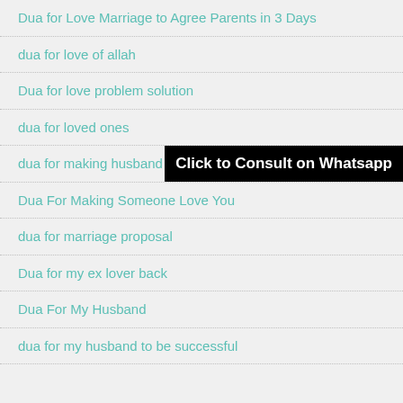Dua for Love Marriage to Agree Parents in 3 Days
dua for love of allah
Dua for love problem solution
dua for loved ones
dua for making husband love you
Dua For Making Someone Love You
dua for marriage proposal
Dua for my ex lover back
Dua For My Husband
dua for my husband to be successful